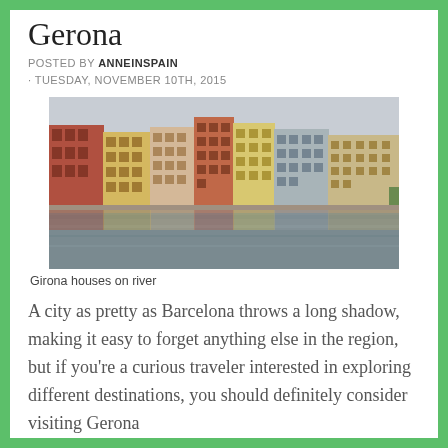Gerona
POSTED BY ANNEINSPAIN
· TUESDAY, NOVEMBER 10TH, 2015
[Figure (photo): Colorful multi-story buildings lining the bank of a river in Gerona, reflected in the calm water below. Overcast sky above.]
Girona houses on river
A city as pretty as Barcelona throws a long shadow, making it easy to forget anything else in the region, but if you're a curious traveler interested in exploring different destinations, you should definitely consider visiting Gerona